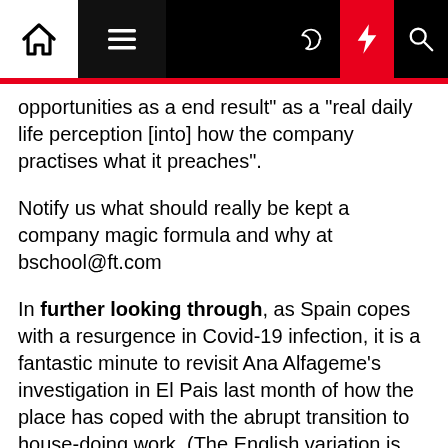Navigation bar with home, menu, moon, lightning, and search icons
opportunities as a end result" as a "real daily life perception [into] how the company practises what it preaches".
Notify us what should really be kept a company magic formula and why at bschool@ft.com
In further looking through, as Spain copes with a resurgence in Covid-19 infection, it is a fantastic minute to revisit Ana Alfageme's investigation in El Pais last month of how the place has coped with the abrupt transition to house-doing work. (The English variation is below Spanish via this connection.) Not considerably better than any other place, is the shorter reply. "All timetables have been interrupted. In many cases men and women are doing work never-ending workdays, and that affects organic rhythms and spouse and children and social